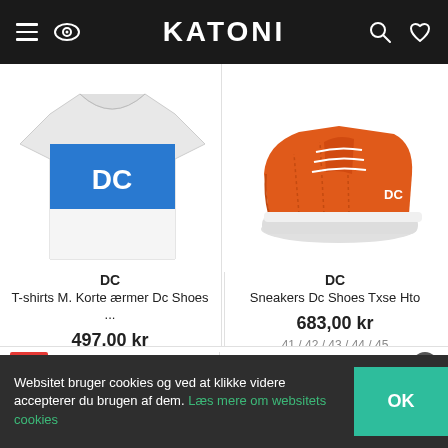KATONI
[Figure (photo): DC T-shirt with blue stripe and DC logo, grey/white color]
[Figure (photo): Orange DC Shoes Txse Hto sneakers on white background]
DC
T-shirts M. Korte ærmer Dc Shoes ...
497,00 kr
EU L / EU XL
GÅ TIL BUTIK
DC
Sneakers Dc Shoes Txse Hto
683,00 kr
41 / 42 / 43 / 44 / 45
GÅ TIL BUTIK
Websitet bruger cookies og ved at klikke videre accepterer du brugen af dem. Læs mere om websitets cookies